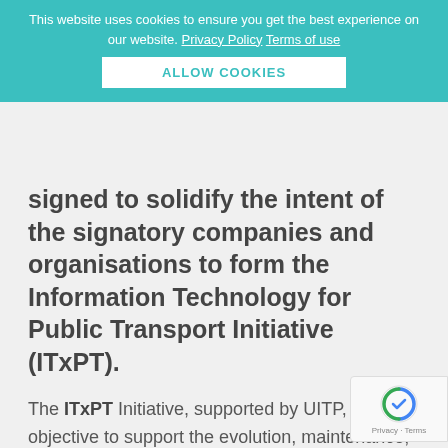This website uses cookies to ensure you get the best experience on our website. Privacy Policy Terms of use
ALLOW COOKIES
signed to solidify the intent of the signatory companies and organisations to form the Information Technology for Public Transport Initiative (ITxPT).
The ITxPT Initiative, supported by UITP, has the objective to support the evolution, maintenance, dissemination, adoption and deployment of the ITxPT platform. The ITxPT Initiative is open to ALL Public Transport stakeholders.
Built on the IT specifications developed in the European Bus